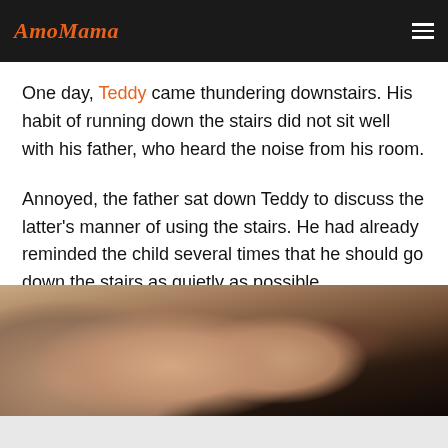AmoMama
One day, Teddy came thundering downstairs. His habit of running down the stairs did not sit well with his father, who heard the noise from his room.
Annoyed, the father sat down Teddy to discuss the latter's manner of using the stairs. He had already reminded the child several times that he should go down the stairs as quietly as possible.
[Figure (photo): Close-up photograph of an elderly person's forehead and eyes, partially lit with dark background]